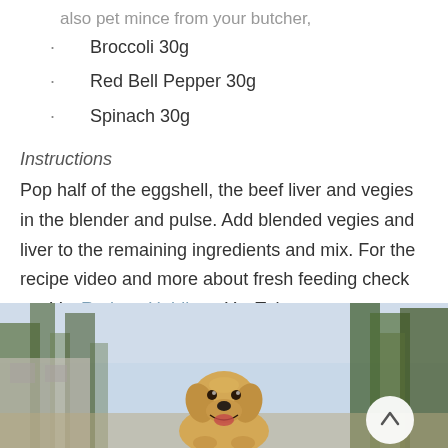also pet mince from your butcher,
Broccoli 30g
Red Bell Pepper 30g
Spinach 30g
Instructions
Pop half of the eggshell, the beef liver and vegies in the blender and pulse. Add blended vegies and liver to the remaining ingredients and mix. For the recipe video and more about fresh feeding check out Vet Rodney Habib on YouTube.
[Figure (photo): A golden retriever puppy looking up at the camera outdoors with trees in background, with a circular back-to-top button in the lower right]